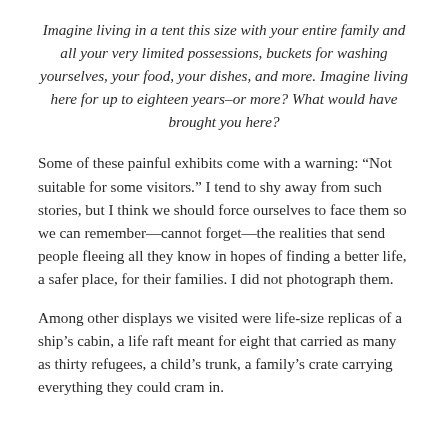Imagine living in a tent this size with your entire family and all your very limited possessions, buckets for washing yourselves, your food, your dishes, and more. Imagine living here for up to eighteen years–or more? What would have brought you here?
Some of these painful exhibits come with a warning: “Not suitable for some visitors.” I tend to shy away from such stories, but I think we should force ourselves to face them so we can remember—cannot forget—the realities that send people fleeing all they know in hopes of finding a better life, a safer place, for their families. I did not photograph them.
Among other displays we visited were life-size replicas of a ship’s cabin, a life raft meant for eight that carried as many as thirty refugees, a child’s trunk, a family’s crate carrying everything they could cram in.